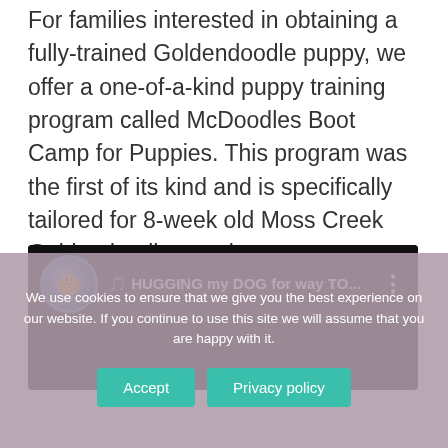For families interested in obtaining a fully-trained Goldendoodle puppy, we offer a one-of-a-kind puppy training program called McDoodles Boot Camp for Puppies. This program was the first of its kind and is specifically tailored for 8-week old Moss Creek Goldendoodle puppies.
[Figure (screenshot): YouTube video embed with black background showing avatar of a golden doodle dog and title 'HUGGING my DOG for way TO...' with three-dot menu icon]
We use cookies to ensure that we give you the best experience on our website. If you continue to use this site we will assume that you are happy with it.
Accept   Privacy policy